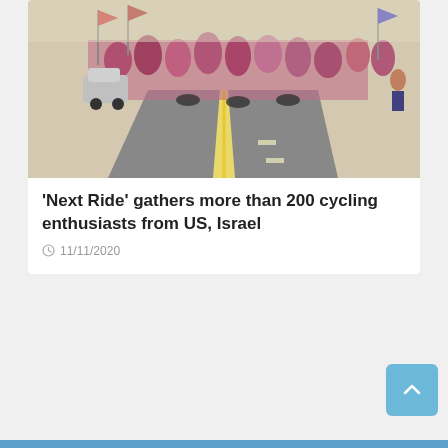[Figure (photo): A group of cyclists in pink and purple jerseys gathered at the start line on a road, with flags and a car visible in the background.]
'Next Ride' gathers more than 200 cycling enthusiasts from US, Israel
11/11/2020